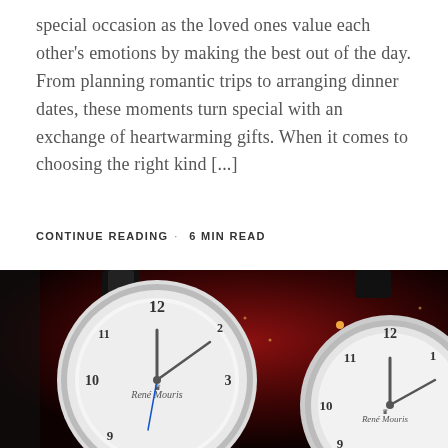special occasion as the loved ones value each other's emotions by making the best out of the day. From planning romantic trips to arranging dinner dates, these moments turn special with an exchange of heartwarming gifts. When it comes to choosing the right kind [...]
CONTINUE READING · 6 MIN READ
[Figure (photo): Two René Mouris analog watches with white patterned dials and black leather straps, photographed against a dark red background with scattered golden bokeh light spots.]